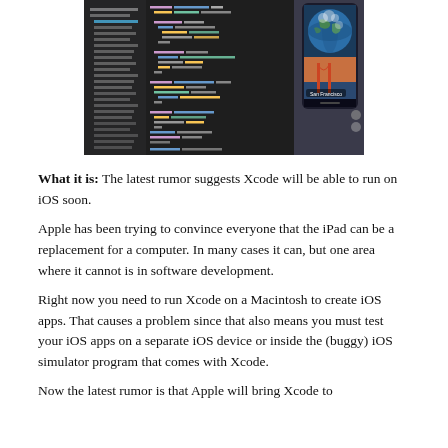[Figure (screenshot): Screenshot showing Xcode IDE with code on the left side and an iOS app running on an iPhone simulator on the right, displaying a globe image and a San Francisco photo with location label.]
What it is: The latest rumor suggests Xcode will be able to run on iOS soon.
Apple has been trying to convince everyone that the iPad can be a replacement for a computer. In many cases it can, but one area where it cannot is in software development.
Right now you need to run Xcode on a Macintosh to create iOS apps. That causes a problem since that also means you must test your iOS apps on a separate iOS device or inside the (buggy) iOS simulator program that comes with Xcode.
Now the latest rumor is that Apple will bring Xcode to